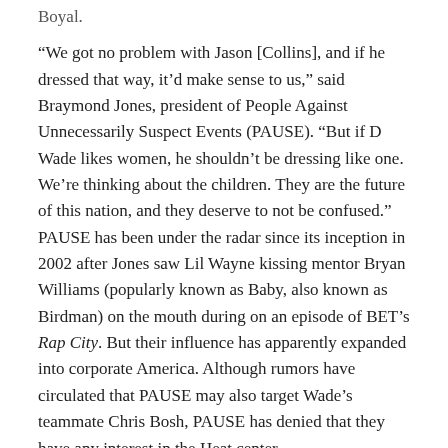Boyal.
“We got no problem with Jason [Collins], and if he dressed that way, it’d make sense to us,” said Braymond Jones, president of People Against Unnecessarily Suspect Events (PAUSE). “But if D Wade likes women, he shouldn’t be dressing like one. We’re thinking about the children. They are the future of this nation, and they deserve to not be confused.”
PAUSE has been under the radar since its inception in 2002 after Jones saw Lil Wayne kissing mentor Bryan Williams (popularly known as Baby, also known as Birdman) on the mouth during on an episode of BET’s Rap City. But their influence has apparently expanded into corporate America. Although rumors have circulated that PAUSE may also target Wade’s teammate Chris Bosh, PAUSE has denied that they have any interest in the Heat center.
“Bosh would be too easy,” laughed Jones. “We might f__ ’round and g…”